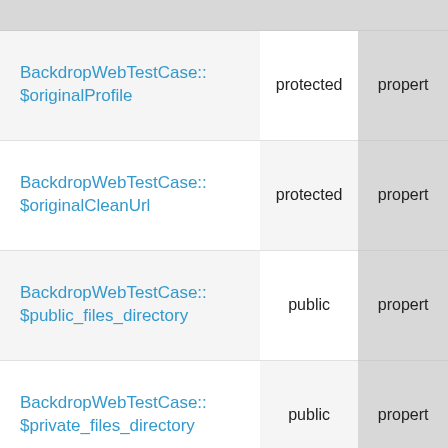| Name | Visibility | Type |
| --- | --- | --- |
| BackdropWebTestCase::$originalProfile | protected | propert |
| BackdropWebTestCase::$originalCleanUrl | protected | propert |
| BackdropWebTestCase::$public_files_directory | public | propert |
| BackdropWebTestCase::$private_files_directory | public | propert |